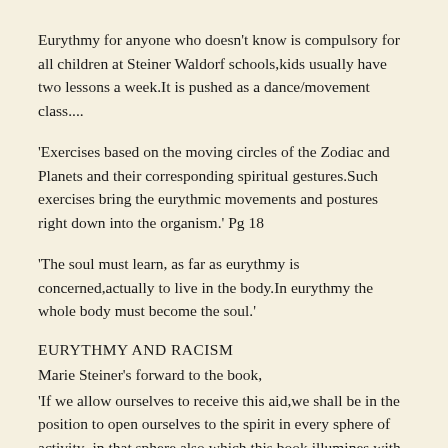Eurythmy for anyone who doesn't know is compulsory for all children at Steiner Waldorf schools,kids usually have two lessons a week.It is pushed as a dance/movement class....
'Exercises based on the moving circles of the Zodiac and Planets and their corresponding spiritual gestures.Such exercises bring the eurythmic movements and postures right down into the organism.' Pg 18
'The soul must learn, as far as eurythmy is concerned,actually to live in the body.In eurythmy the whole body must become the soul.'
EURYTHMY AND RACISM
Marie Steiner's forward to the book,
'If we allow ourselves to receive this aid,we shall be in the position to open ourselves to the spirit in every sphere of activity,-in that sphere also which this book illumines with spiritual revelation and human knowledge.Then we shall no longer need to stimulate our slackened nerves by means of